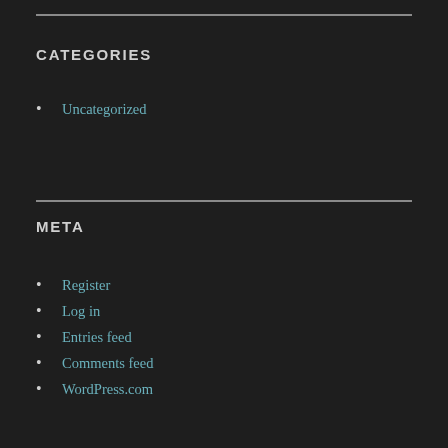CATEGORIES
Uncategorized
META
Register
Log in
Entries feed
Comments feed
WordPress.com